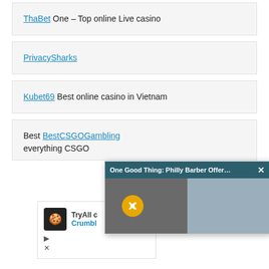ThaBet One – Top online Live casino
PrivacySharks
Kubet69 Best online casino in Vietnam
Best BestCSGOGambling everything CSGO
[Figure (screenshot): Popup video player showing 'One Good Thing: Philly Barber Offer...' with a muted video of people near a tent with a sign reading 'Shaving Cuts Serving The People']
[Figure (screenshot): Ad box showing TryAll with Crumbl logo icon and play/close controls]